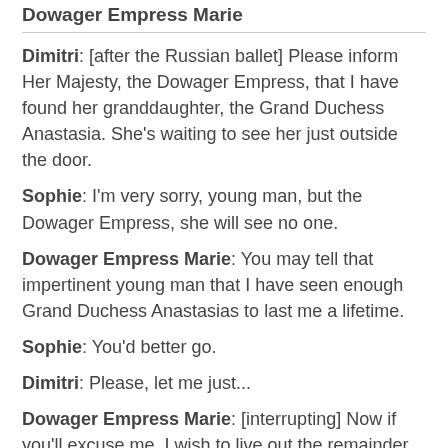Dowager Empress Marie
Dimitri: [after the Russian ballet] Please inform Her Majesty, the Dowager Empress, that I have found her granddaughter, the Grand Duchess Anastasia. She's waiting to see her just outside the door.
Sophie: I'm very sorry, young man, but the Dowager Empress, she will see no one.
Dowager Empress Marie: You may tell that impertinent young man that I have seen enough Grand Duchess Anastasias to last me a lifetime.
Sophie: You'd better go.
Dimitri: Please, let me just...
Dowager Empress Marie: [interrupting] Now if you'll excuse me, I wish to live out the remainder of my lonely life in peace.